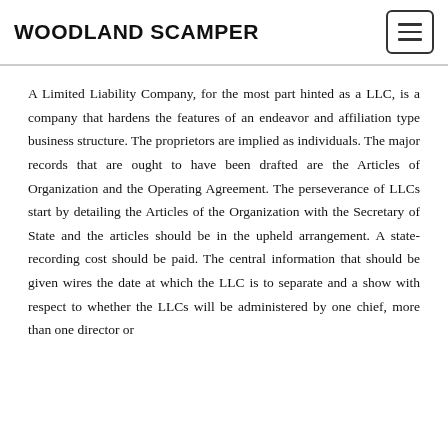WOODLAND SCAMPER
A Limited Liability Company, for the most part hinted as a LLC, is a company that hardens the features of an endeavor and affiliation type business structure. The proprietors are implied as individuals. The major records that are ought to have been drafted are the Articles of Organization and the Operating Agreement. The perseverance of LLCs start by detailing the Articles of the Organization with the Secretary of State and the articles should be in the upheld arrangement. A state-recording cost should be paid. The central information that should be given wires the date at which the LLC is to separate and a show with respect to whether the LLCs will be administered by one chief, more than one director or